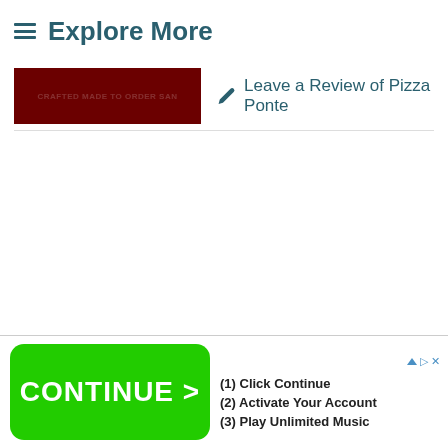≡ Explore More
[Figure (screenshot): Dark red partial image with text overlay reading 'CRAFTED MADE TO ORDER SAN' (partially visible), and a review link icon with text 'Leave a Review of Pizza Ponte']
Leave a Review of Pizza Ponte
[Figure (screenshot): Bottom listing row showing a chevron down button, a brown Enzo's Hideaway Tunnel bar image, and the text ENZO'S HIDEAWAY TUNNEL with a right arrow]
[Figure (screenshot): Advertisement banner with green CONTINUE > button, and text: (1) Click Continue (2) Activate Your Account (3) Play Unlimited Music. Has 'Ad' triangle icon and X close button.]